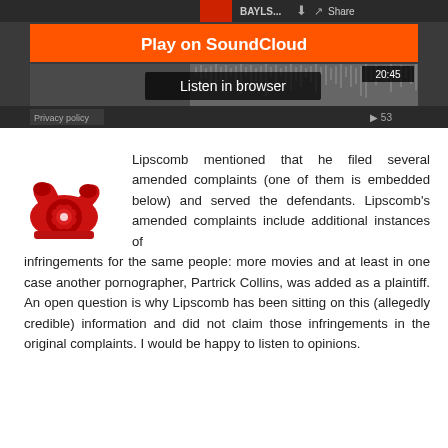[Figure (screenshot): SoundCloud embedded player widget showing 'Play on SoundCloud' orange button, 'Listen in browser' overlay, waveform visualization, timestamp 20:45, play count 53, Privacy policy text, share button, and BAYLS... track label]
[Figure (illustration): Red vintage rotary telephone icon]
Lipscomb mentioned that he filed several amended complaints (one of them is embedded below) and served the defendants. Lipscomb's amended complaints include additional instances of infringements for the same people: more movies and at least in one case another pornographer, Partrick Collins, was added as a plaintiff. An open question is why Lipscomb has been sitting on this (allegedly credible) information and did not claim those infringements in the original complaints. I would be happy to listen to opinions.